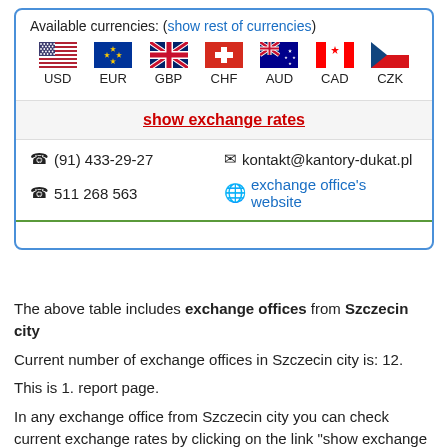Available currencies: (show rest of currencies)
[Figure (infographic): Currency flags row: USD (US flag), EUR (EU flag), GBP (UK flag), CHF (Swiss flag), AUD (Australian flag), CAD (Canadian flag), CZK (Czech flag)]
show exchange rates
(91) 433-29-27
kontakt@kantory-dukat.pl
511 268 563
exchange office's website
The above table includes exchange offices from Szczecin city
Current number of exchange offices in Szczecin city is: 12.
This is 1. report page.
In any exchange office from Szczecin city you can check current exchange rates by clicking on the link "show exchange rates". Each exchange office has the following description: opening hours, address, phone number, a link to the website office.
To locate the exchange office on the map, click on the icon of map of Poland.